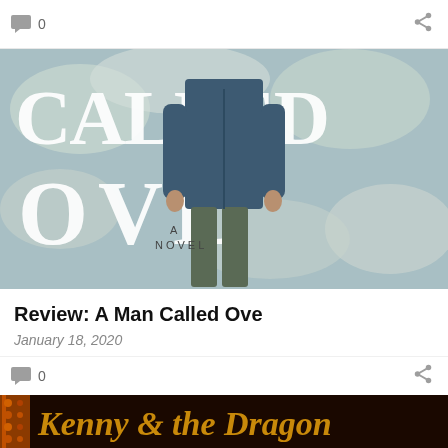0
[Figure (photo): Book cover of 'A Man Called Ove' — a novel by Fredrik Backman. Shows large white hand-lettered text reading 'CALLED OVE' on a light blue/teal cloudy background with a man in a dark blue jacket and grey trousers seen from behind.]
Review: A Man Called Ove
January 18, 2020
0
[Figure (photo): Partial book cover showing 'Kenny & the Dragon' in ornate golden/brown lettering on a dark background.]